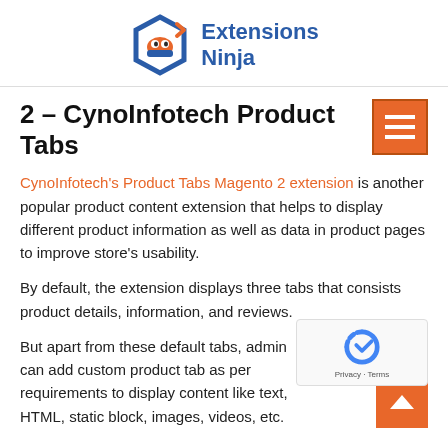[Figure (logo): Extensions Ninja logo with hexagonal ninja mask icon in blue/orange and text 'Extensions Ninja' in blue]
2 – CynoInfotech Product Tabs
CynoInfotech's Product Tabs Magento 2 extension is another popular product content extension that helps to display different product information as well as data in product pages to improve store's usability.
By default, the extension displays three tabs that consists product details, information, and reviews.
But apart from these default tabs, admin can add custom product tab as per requirements to display content like text, HTML, static block, images, videos, etc.